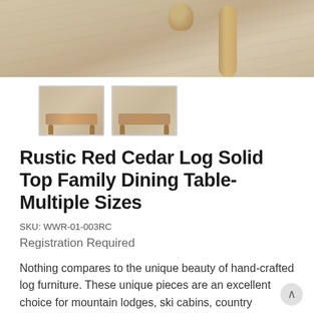[Figure (photo): Main product photo of rustic red cedar log dining table on wood floor background, partial view from above]
[Figure (photo): Two thumbnail images of the rustic cedar log dining table showing different angles]
Rustic Red Cedar Log Solid Top Family Dining Table-Multiple Sizes
SKU: WWR-01-003RC
Registration Required
Nothing compares to the unique beauty of hand-crafted log furniture. These unique pieces are an excellent choice for mountain lodges, ski cabins, country cottages, and much more.